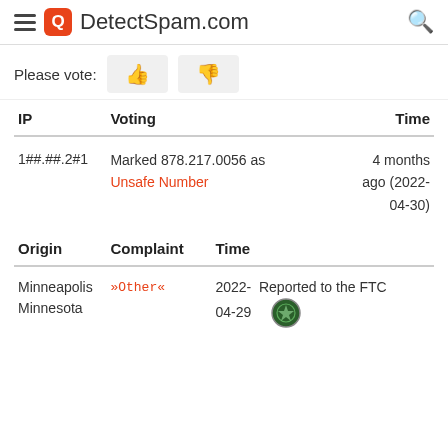DetectSpam.com
Please vote:
| IP | Voting | Time |
| --- | --- | --- |
| 1##.##.2#1 | Marked 878.217.0056 as Unsafe Number | 4 months ago (2022-04-30) |
| Origin | Complaint | Time |
| --- | --- | --- |
| Minneapolis
Minnesota | »Other« | 2022-04-29  Reported to the FTC |